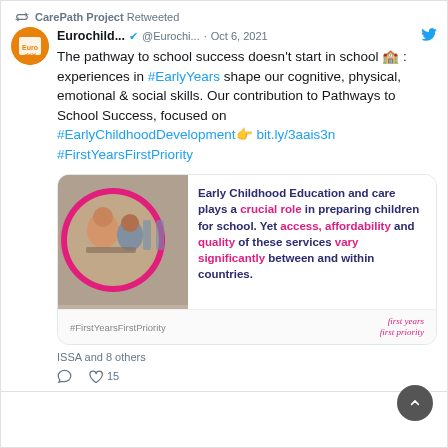CarePath Project Retweeted
Eurochild... @Eurochi... · Oct 6, 2021
The pathway to school success doesn't start in school 🏫 : experiences in #EarlyYears shape our cognitive, physical, emotional & social skills. Our contribution to Pathways to School Success, focused on #EarlyChildhoodDevelopment👉 bit.ly/3aais3n #FirstYearsFirstPriority
[Figure (infographic): Early Childhood Education card with children photo and text: Early Childhood Education and care plays a crucial role in preparing children for school. Yet access, affordability and quality of these services vary significantly between and within countries. #FirstYearsFirstPriority]
ISSA and 8 others
15 likes